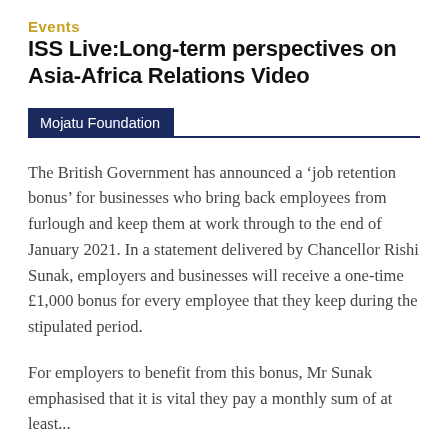Events
ISS Live:Long-term perspectives on Asia-Africa Relations Video
Mojatu Foundation
The British Government has announced a ‘job retention bonus’ for businesses who bring back employees from furlough and keep them at work through to the end of January 2021. In a statement delivered by Chancellor Rishi Sunak, employers and businesses will receive a one-time £1,000 bonus for every employee that they keep during the stipulated period.
For employers to benefit from this bonus, Mr Sunak emphasised that it is vital they pay a monthly sum of at least...